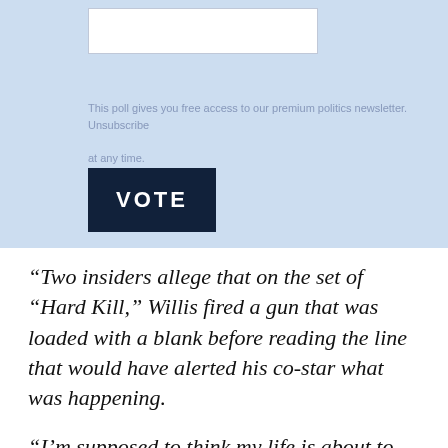[Figure (screenshot): Light blue panel with a white input box at top, newsletter disclaimer text, and a dark navy 'VOTE' button]
This poll gives you free access to our premium politics newsletter. Unsubscribe at any time.
“Two insiders allege that on the set of “Hard Kill,” Willis fired a gun that was loaded with a blank before reading the line that would have alerted his co-star what was happening.
“I’m supposed to think my life is about to end,